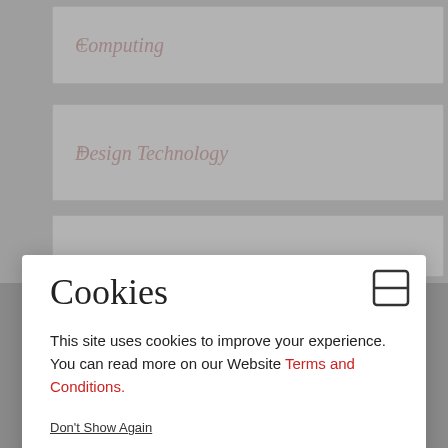+ Computing
+ Design Technology
Cookies
This site uses cookies to improve your experience. You can read more on our Website Terms and Conditions.
Don't Show Again
Newland House School
Waldegrave Park